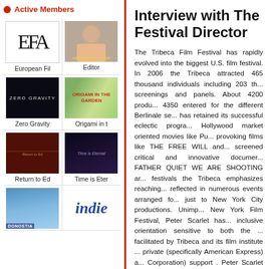Active Members
[Figure (logo): EFA European Film Academy logo]
European Fil
[Figure (photo): Editor photo from filmfestivals.com]
Editor
[Figure (photo): Zero Gravity movie poster - dark background]
Zero Gravity
[Figure (photo): Origami in the Garden movie poster]
Origami in t
[Figure (photo): Return to Ed movie still]
Return to Ed
[Figure (photo): Time is Eternal movie poster - dark blue]
Time is Eter
[Figure (photo): Donostia landscape photo]
[Figure (logo): indie logo in blue italic]
Interview with The Festival Director
The Tribeca Film Festival has rapidly evolved into the biggest U.S. film festival. In 2006 the Tribeca attracted 465 thousand individuals including 203 thousand to screenings and panels. About 4200 productions and 4350 entered for the different Berlinale sections. It has retained its successful eclectic programming mix of Hollywood market oriented movies like Pu... provoking films like THE FREE WILL and screened critical and innovative documentaries like FATHER QUIET WE ARE SHOOTING and ... festivals the Tribeca emphasizes reaching ... reflected in numerous events arranged fo... just to New York City productions. Unimp... New York Film Festival, Peter Scarlet has... inclusive orientation sensitive to both the ... facilitated by Tribeca and its film institute ... private (specifically American Express) an... Corporation) support . Peter Scarlet has been ... Film Festival since 2002. He served before ... Cinemateque Francaise and helmed the A... from 1983 – 2001.